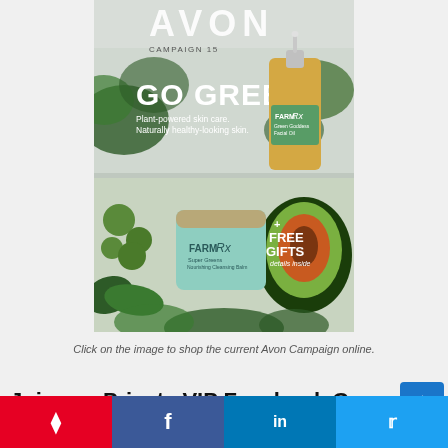[Figure (illustration): Avon Campaign 15 catalog cover featuring 'GO GREEN' headline with plant-powered skin care products (Farm Rx brand), avocado, green vegetables, and text '+ FREE GIFTS details inside']
Click on the image to shop the current Avon Campaign online.
Join our Private VIP Facebook Group